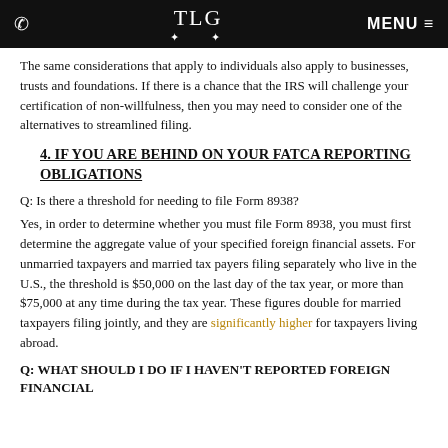TLG | MENU
The same considerations that apply to individuals also apply to businesses, trusts and foundations. If there is a chance that the IRS will challenge your certification of non-willfulness, then you may need to consider one of the alternatives to streamlined filing.
4. IF YOU ARE BEHIND ON YOUR FATCA REPORTING OBLIGATIONS
Q: Is there a threshold for needing to file Form 8938?
Yes, in order to determine whether you must file Form 8938, you must first determine the aggregate value of your specified foreign financial assets. For unmarried taxpayers and married tax payers filing separately who live in the U.S., the threshold is $50,000 on the last day of the tax year, or more than $75,000 at any time during the tax year. These figures double for married taxpayers filing jointly, and they are significantly higher for taxpayers living abroad.
Q: WHAT SHOULD I DO IF I HAVEN'T REPORTED FOREIGN FINANCIAL